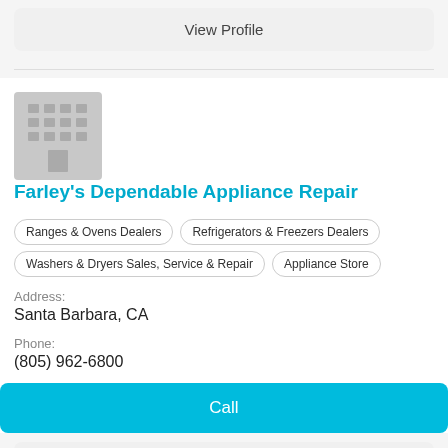View Profile
[Figure (illustration): Building/office placeholder icon, gray square with grid of windows]
Farley's Dependable Appliance Repair
Ranges & Ovens Dealers
Refrigerators & Freezers Dealers
Washers & Dryers Sales, Service & Repair
Appliance Store
Address:
Santa Barbara, CA
Phone:
(805) 962-6800
Call
View Profile